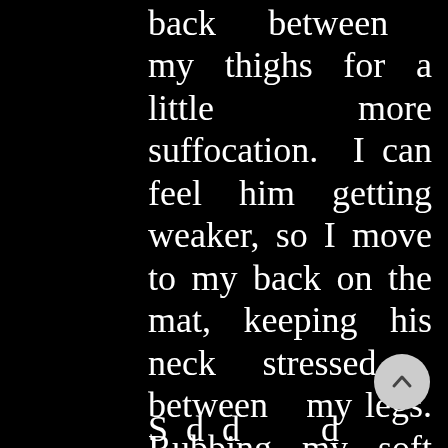back between my thighs for a little more suffocation. I can feel him getting weaker, so I move to my back on the mat, keeping his neck stressed between my legs. Rubbing my soft tissues up and down on his neck, I start to lose focus and my mind starts to wander.